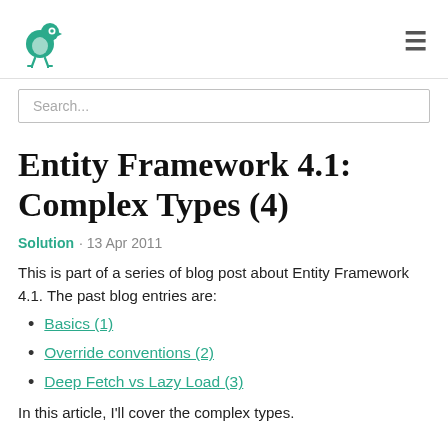[Logo] Entity Framework blog | [hamburger menu]
Search...
Entity Framework 4.1: Complex Types (4)
Solution · 13 Apr 2011
This is part of a series of blog post about Entity Framework 4.1.  The past blog entries are:
Basics (1)
Override conventions (2)
Deep Fetch vs Lazy Load (3)
In this article, I'll cover the complex types.